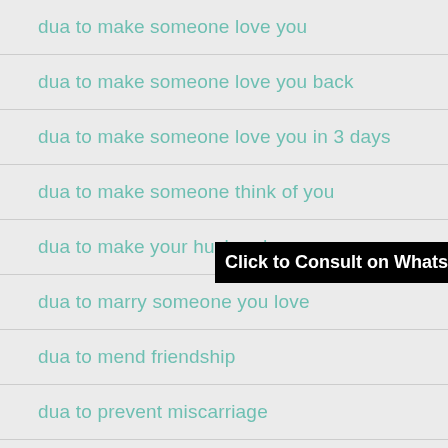dua to make someone love you
dua to make someone love you back
dua to make someone love you in 3 days
dua to make someone think of you
dua to make your husband
dua to marry someone you love
dua to mend friendship
dua to prevent miscarriage
dua to protect child from bad habits
dua to reduce breast size
Click to Consult on Whatsapp